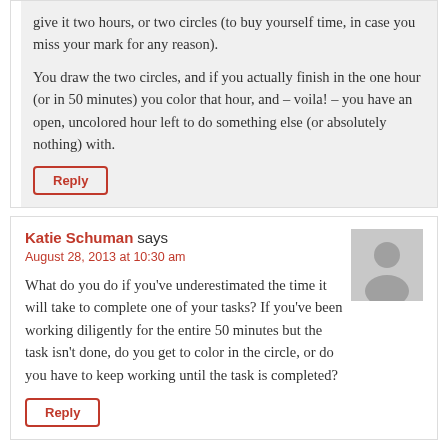give it two hours, or two circles (to buy yourself time, in case you miss your mark for any reason).
You draw the two circles, and if you actually finish in the one hour (or in 50 minutes) you color that hour, and – voila! – you have an open, uncolored hour left to do something else (or absolutely nothing) with.
Reply
Katie Schuman says
August 28, 2013 at 10:30 am
What do you do if you've underestimated the time it will take to complete one of your tasks? If you've been working diligently for the entire 50 minutes but the task isn't done, do you get to color in the circle, or do you have to keep working until the task is completed?
Reply